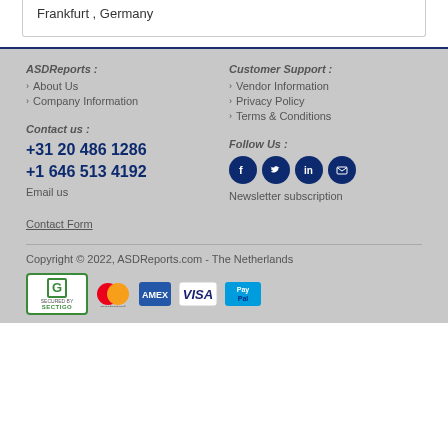Frankfurt , Germany
About Us
Company Information
Vendor Information
Privacy Policy
Terms & Conditions
Contact us :
+31 20 486 1286
+1 646 513 4192
Email us
Contact Form
Follow Us :
[Figure (infographic): Social media icons: Facebook, Twitter, LinkedIn, Email]
Newsletter subscription
Copyright © 2022, ASDReports.com - The Netherlands
[Figure (logo): Sectigo security badge, Mastercard, American Express, Visa, PayPal payment logos]